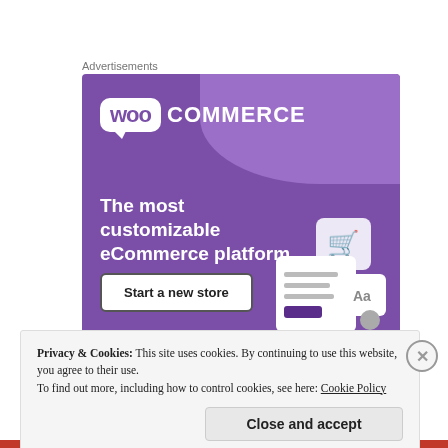Advertisements
[Figure (illustration): WooCommerce advertisement banner with purple background. Shows WooCommerce logo (woo bubble + COMMERCE text), tagline 'The most customizable eCommerce platform', a 'Start a new store' button, and an illustration of a shopping cart UI on the right side.]
Privacy & Cookies: This site uses cookies. By continuing to use this website, you agree to their use.
To find out more, including how to control cookies, see here: Cookie Policy
Close and accept